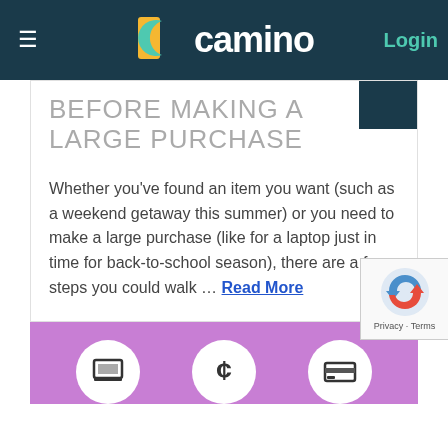camino — Login
BEFORE MAKING A LARGE PURCHASE
Whether you've found an item you want (such as a weekend getaway this summer) or you need to make a large purchase (like for a laptop just in time for back-to-school season), there are a few steps you could walk … Read More
[Figure (illustration): Purple/violet banner with three white circles containing icons: a laptop/tablet, a dollar sign, and a credit card/purchase icon]